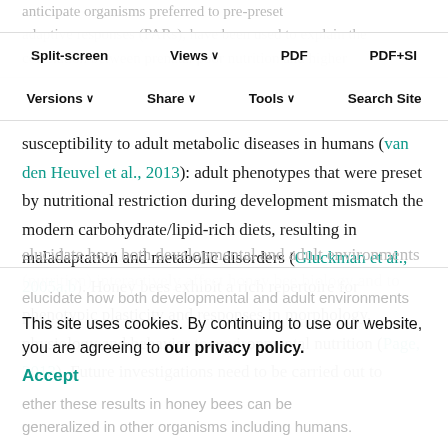anticipate organisms preferred to pre-preset adaptive responses (PARs), have been used to explain the correlation between prenatal poor nutrition and higher
Split-screen  Views  PDF  PDF+SI  Versions  Share  Tools  Search Site
susceptibility to adult metabolic diseases in humans (van den Heuvel et al., 2013): adult phenotypes that were preset by nutritional restriction during development mismatch the modern carbohydrate/lipid-rich diets, resulting in maladaptation and metabolic disorders (Gluckman et al., 2005a,b). Honey bees exhibit a rich repertoire for phenotypic plasticity and responses in morphology, physiology and behavior to environmental nutrition (Page, 2013). Future investigations need to be carried out to
elucidate how both developmental and adult environments (nutrition) interactively affect honey bee biology and to
This site uses cookies. By continuing to use our website, you are agreeing to our privacy policy.
Accept
ether these results in honey bees can be
generalized in other organisms including humans.